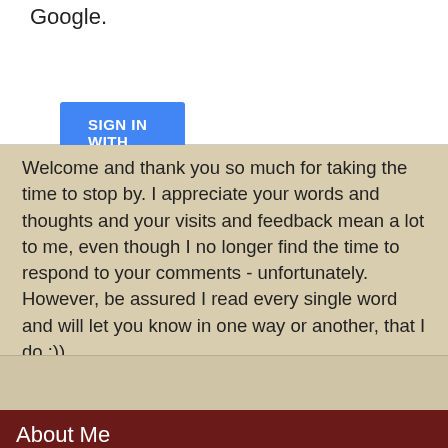Google.
[Figure (screenshot): Blue 'SIGN IN WITH GOOGLE' button]
Welcome and thank you so much for taking the time to stop by. I appreciate your words and thoughts and your visits and feedback mean a lot to me, even though I no longer find the time to respond to your comments - unfortunately. However, be assured I read every single word and will let you know in one way or another, that I do.:))
xoxo
Zuzana
[Figure (screenshot): Navigation bar with left arrow, Home button in red, right arrow]
View web version
About Me